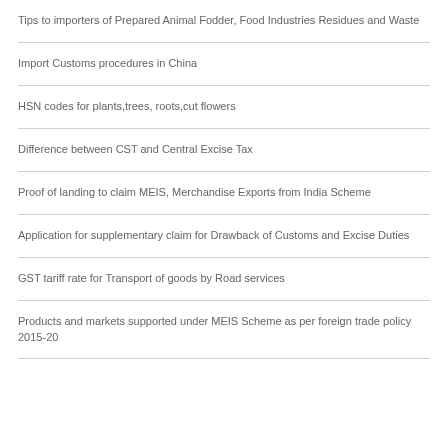Tips to importers of Prepared Animal Fodder, Food Industries Residues and Waste
Import Customs procedures in China
HSN codes for plants,trees, roots,cut flowers
Difference between CST and Central Excise Tax
Proof of landing to claim MEIS, Merchandise Exports from India Scheme
Application for supplementary claim for Drawback of Customs and Excise Duties
GST tariff rate for Transport of goods by Road services
Products and markets supported under MEIS Scheme as per foreign trade policy 2015-20